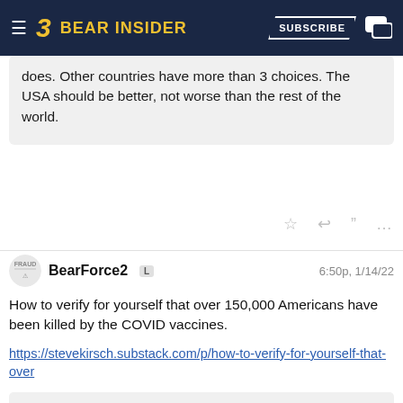Bear Insider — SUBSCRIBE
does. Other countries have more than 3 choices. The USA should be better, not worse than the rest of the world.
BearForce2  L   6:50p, 1/14/22
How to verify for yourself that over 150,000 Americans have been killed by the COVID vaccines.
https://stevekirsch.substack.com/p/how-to-verify-for-yourself-that-over
Quote: The main conclusion is that we can estimate the deaths 12 different ways, all using different methods and data, and we always come up with 150,000 excess American deaths. The vaccine is the only possible cause of such a huge number of excess deaths. By contrast, the Pfizer Phase 3 trial showed we save 1 COVID life per every 22,000 people who are fully vaccinated (2